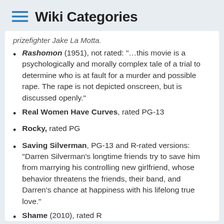Wiki Categories
prizefighter Jake La Motta.
Rashomon (1951), not rated: "...this movie is a psychologically and morally complex tale of a trial to determine who is at fault for a murder and possible rape. The rape is not depicted onscreen, but is discussed openly."
Real Women Have Curves, rated PG-13
Rocky, rated PG
Saving Silverman, PG-13 and R-rated versions: “Darren Silverman’s longtime friends try to save him from marrying his controlling new girlfriend, whose behavior threatens the friends, their band, and Darren’s chance at happiness with his lifelong true love.”
Shame (2010), rated R
Shawshank Redemption, rated R; discussion of